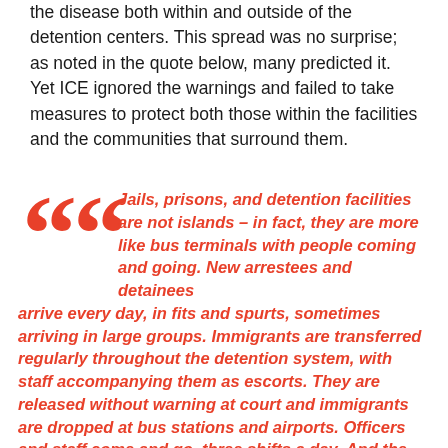the disease both within and outside of the detention centers. This spread was no surprise; as noted in the quote below, many predicted it. Yet ICE ignored the warnings and failed to take measures to protect both those within the facilities and the communities that surround them.
Jails, prisons, and detention facilities are not islands – in fact, they are more like bus terminals with people coming and going. New arrestees and detainees arrive every day, in fits and spurts, sometimes arriving in large groups. Immigrants are transferred regularly throughout the detention system, with staff accompanying them as escorts. They are released without warning at court and immigrants are dropped at bus stations and airports. Officers and staff come and go, three shifts a day. And the virus can easily move back and forth by means of